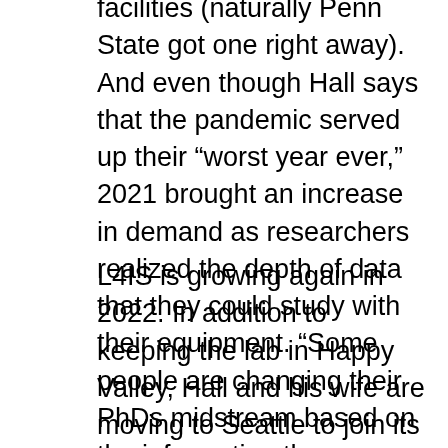facilities (naturally Penn State got one right away). And even though Hall says that the pandemic served up their “worst year ever,” 2021 brought an increase in demand as researchers realized the depth of data that they could study with their equipment. “Some people are changing their PhDs midstream based on the information they are getting from this analysis,” Hall says.
L4IS is growing again in 2022. In addition to keeping the lab in Happy Valley, Hall and his wife are moving to Seattle to join its biomedical business ecosystem and keep pushing the envelope on both sides of the country.
He says it’s a move that never could have happened without support from Penn State, Innovation Park, and Ben Franklin. “It’s really awesome, fertile ground for a startup,” he says. Hall also credits his co-inventor, advisor, and mentor Dr.